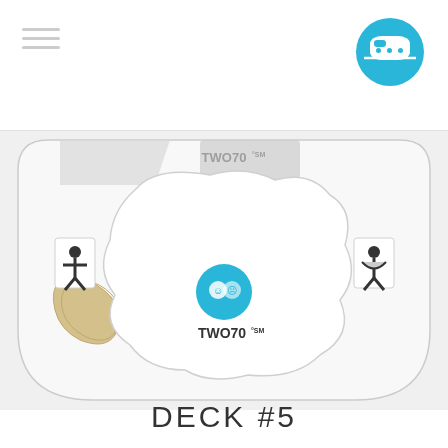[Figure (schematic): Ship deck plan schematic for Deck #5 showing TWO70 venue layout with restroom icons, seating areas, and a central TWO70 SM logo circle]
DECK #5